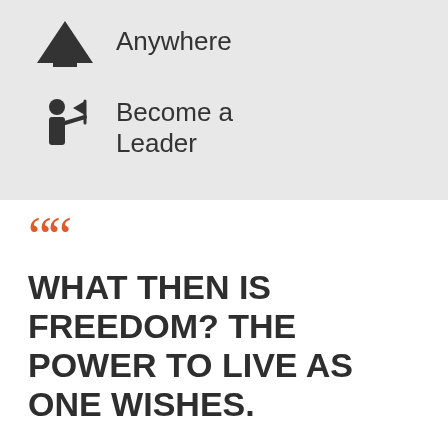Anywhere
Become a Leader
““ WHAT THEN IS FREEDOM? THE POWER TO LIVE AS ONE WISHES.